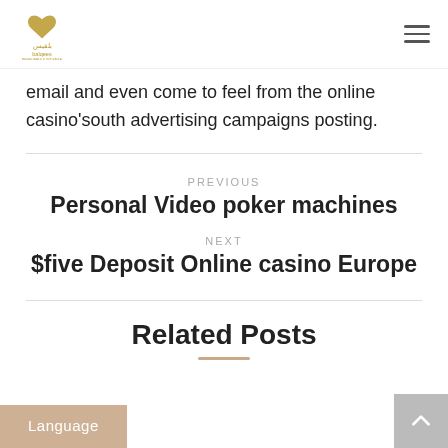balqees logo and hamburger menu
email and even come to feel from the online casino’south advertising campaigns posting.
PREVIOUS
Personal Video poker machines
NEXT
$five Deposit Online casino Europe
Related Posts